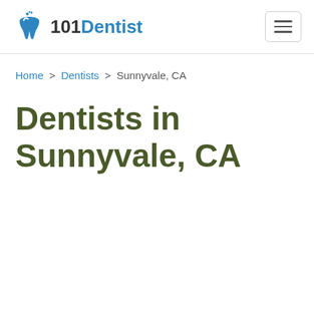101Dentist
Home > Dentists > Sunnyvale, CA
Dentists in Sunnyvale, CA